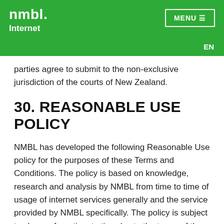nmbl. Internet
parties agree to submit to the non-exclusive jurisdiction of the courts of New Zealand.
30. REASONABLE USE POLICY
NMBL has developed the following Reasonable Use policy for the purposes of these Terms and Conditions. The policy is based on knowledge, research and analysis by NMBL from time to time of usage of internet services generally and the service provided by NMBL specifically. The policy is subject to change from time to time (as to the terms of the policy, and as to NMBL's view of estimated use patterns, normal usage patterns, or excessive use) as such research or analysis is refined and/or as general internet usage alters over time. Any alteration to the policy shall be notified to You by electronic means, and shall